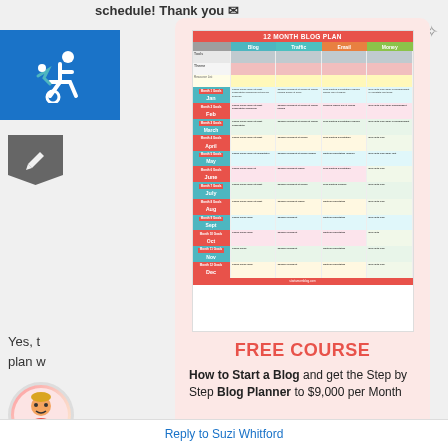schedule! Thank you
[Figure (infographic): 12 Month Blog Plan table with columns: Blog, Traffic, Email, Money; rows for each month Jan-Dec with colored headers]
FREE COURSE
How to Start a Blog and get the Step by Step Blog Planner to $9,000 per Month
Yes, t
plan w
Reply to Suzi Whitford